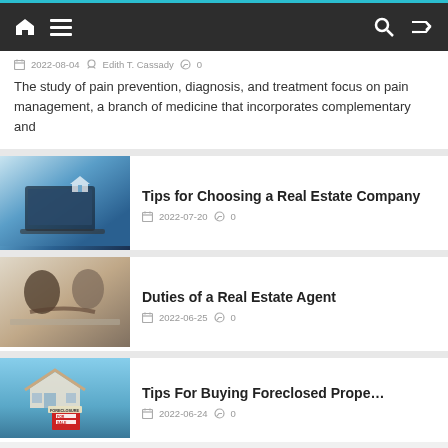Navigation bar with home, menu, search, and shuffle icons
2022-08-04  Edith T. Cassady  0
The study of pain prevention, diagnosis, and treatment focus on pain management, a branch of medicine that incorporates complementary and
[Figure (photo): Person typing on laptop with holographic house icons, related to real estate search online]
Tips for Choosing a Real Estate Company
2022-07-20  0
[Figure (photo): Two people shaking hands across a desk, real estate agent meeting with client]
Duties of a Real Estate Agent
2022-06-25  0
[Figure (photo): House with foreclosure and for sale sign in front yard]
Tips For Buying Foreclosed Proper…
2022-06-24  0